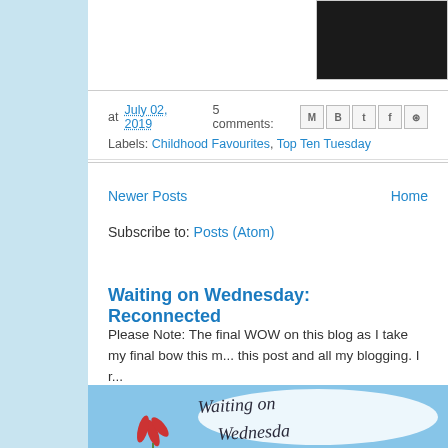[Figure (photo): Dark/shadowed photograph partially visible at top right of page]
at July 02, 2019   5 comments:
Labels: Childhood Favourites, Top Ten Tuesday
Newer Posts   Home
Subscribe to: Posts (Atom)
Waiting on Wednesday: Reconnected
Please Note: The final WOW on this blog as I take my final bow this m... this post and all my blogging. I r...
[Figure (photo): Waiting on Wednesday blog banner image with handwritten text and red flower illustration on blue sky background]